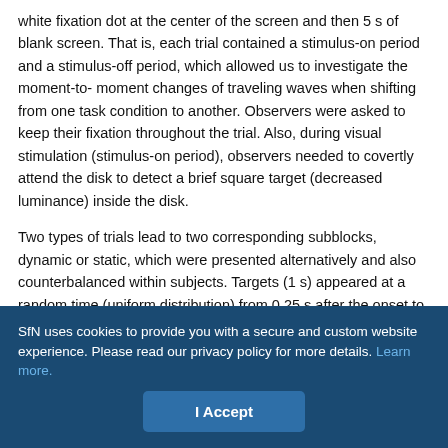white fixation dot at the center of the screen and then 5 s of blank screen. That is, each trial contained a stimulus-on period and a stimulus-off period, which allowed us to investigate the moment-to-moment changes of traveling waves when shifting from one task condition to another. Observers were asked to keep their fixation throughout the trial. Also, during visual stimulation (stimulus-on period), observers needed to covertly attend the disk to detect a brief square target (decreased luminance) inside the disk.
Two types of trials lead to two corresponding subblocks, dynamic or static, which were presented alternatively and also counterbalanced within subjects. Targets (1 s) appeared at a random time (uniform distribution) from 0.25 s after the onset to 0.25 s before the offset of
SfN uses cookies to provide you with a secure and custom website experience. Please read our privacy policy for more details. Learn more.